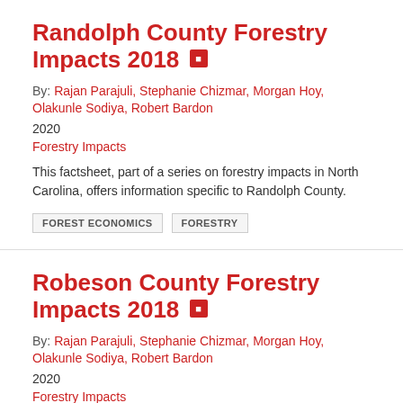Randolph County Forestry Impacts 2018
By: Rajan Parajuli, Stephanie Chizmar, Morgan Hoy, Olakunle Sodiya, Robert Bardon
2020
Forestry Impacts
This factsheet, part of a series on forestry impacts in North Carolina, offers information specific to Randolph County.
FOREST ECONOMICS
FORESTRY
Robeson County Forestry Impacts 2018
By: Rajan Parajuli, Stephanie Chizmar, Morgan Hoy, Olakunle Sodiya, Robert Bardon
2020
Forestry Impacts
This factsheet, part of a series on forestry impacts in North Carolina, offers information specific to